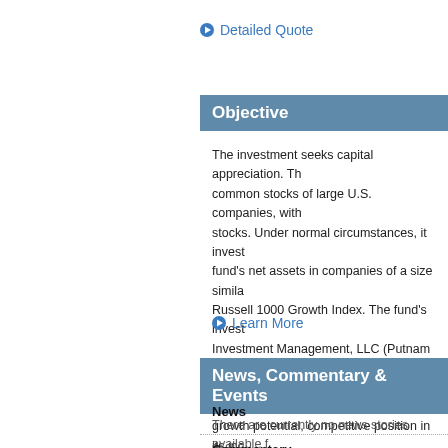Detailed Quote
Objective
The investment seeks capital appreciation. The fund invests mainly in common stocks of large U.S. companies, with an emphasis on growth stocks. Under normal circumstances, it invests at least 80% of the fund's net assets in companies of a size similar to those in the Russell 1000 Growth Index. The fund's investment advisor, Putnam Investment Management, LLC (Putnam Management), considers, among other factors, a company's valuation, financial strength, growth potential, competitive position in its industry, projected future earnings, cash flows and dividends when deciding whether to buy or sell investments. It is non-diversified.
Learn More
News, Commentary & Events
News
There are currently no news stories available f
Commentary